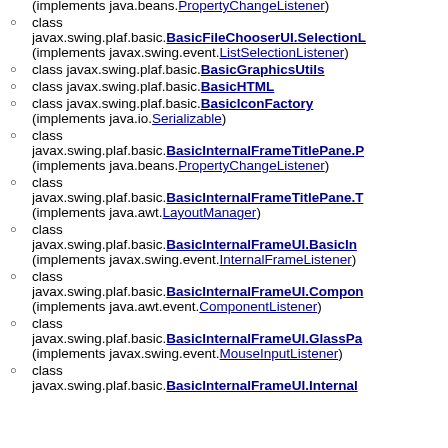(implements java.beans.PropertyChangeListener)
class javax.swing.plaf.basic.BasicFileChooserUI.SelectionL... (implements javax.swing.event.ListSelectionListener)
class javax.swing.plaf.basic.BasicGraphicsUtils
class javax.swing.plaf.basic.BasicHTML
class javax.swing.plaf.basic.BasicIconFactory (implements java.io.Serializable)
class javax.swing.plaf.basic.BasicInternalFrameTitlePane.P... (implements java.beans.PropertyChangeListener)
class javax.swing.plaf.basic.BasicInternalFrameTitlePane.T... (implements java.awt.LayoutManager)
class javax.swing.plaf.basic.BasicInternalFrameUI.BasicIn... (implements javax.swing.event.InternalFrameListener)
class javax.swing.plaf.basic.BasicInternalFrameUI.Compon... (implements java.awt.event.ComponentListener)
class javax.swing.plaf.basic.BasicInternalFrameUI.GlassPa... (implements javax.swing.event.MouseInputListener)
class javax.swing.plaf.basic.BasicInternalFrameUI.Internal...